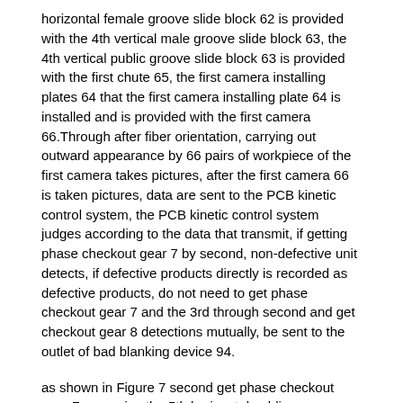horizontal female groove slide block 62 is provided with the 4th vertical male groove slide block 63, the 4th vertical public groove slide block 63 is provided with the first chute 65, the first camera installing plates 64 that the first camera installing plate 64 is installed and is provided with the first camera 66.Through after fiber orientation, carrying out outward appearance by 66 pairs of workpiece of the first camera takes pictures, after the first camera 66 is taken pictures, data are sent to the PCB kinetic control system, the PCB kinetic control system judges according to the data that transmit, if getting phase checkout gear 7 by second, non-defective unit detects, if defective products directly is recorded as defective products, do not need to get phase checkout gear 7 and the 3rd through second and get checkout gear 8 detections mutually, be sent to the outlet of bad blanking device 94.
as shown in Figure 7 second get phase checkout gear 7, comprise the 5th horizontal public groove sliding 71, the 5th horizontal male groove slide block 71 is provided with the 5th horizontal female groove slide block 72, the 5th horizontal female groove slide block 72 is provided with the 5th vertical male groove slide block 73, the 5th vertical